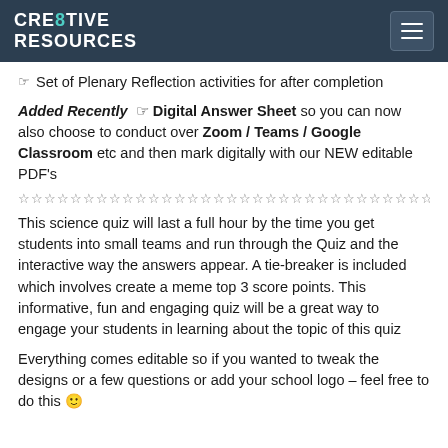CRE8TIVE RESOURCES
Set of Plenary Reflection activities for after completion
Added Recently ☞ Digital Answer Sheet so you can now also choose to conduct over Zoom / Teams / Google Classroom etc and then mark digitally with our NEW editable PDF's
☆☆☆☆☆☆☆☆☆☆☆☆☆☆☆☆☆☆☆☆☆☆☆☆☆☆☆☆☆☆☆☆☆☆☆☆☆☆
This science quiz will last a full hour by the time you get students into small teams and run through the Quiz and the interactive way the answers appear. A tie-breaker is included which involves create a meme top 3 score points. This informative, fun and engaging quiz will be a great way to engage your students in learning about the topic of this quiz
Everything comes editable so if you wanted to tweak the designs or a few questions or add your school logo – feel free to do this 🙂